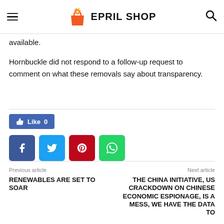EPRIL SHOP
available.
Hornbuckle did not respond to a follow-up request to comment on what these removals say about transparency.
[Figure (infographic): Facebook Like button showing 0 likes, and four social sharing buttons: Facebook, Twitter, Pinterest, WhatsApp]
Previous article
RENEWABLES ARE SET TO SOAR
Next article
THE CHINA INITIATIVE, US CRACKDOWN ON CHINESE ECONOMIC ESPIONAGE, IS A MESS, WE HAVE THE DATA TO